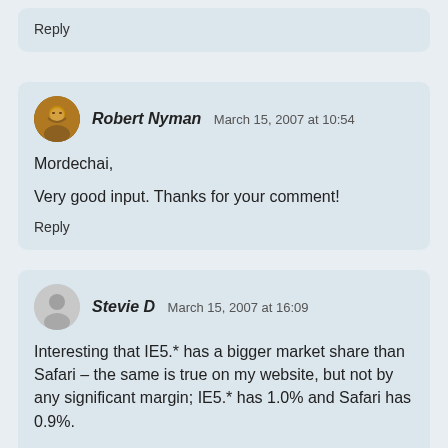Reply
Robert Nyman  March 15, 2007 at 10:54
Mordechai,

Very good input. Thanks for your comment!
Reply
Stevie D  March 15, 2007 at 16:09
Interesting that IE5.* has a bigger market share than Safari – the same is true on my website, but not by any significant margin; IE5.* has 1.0% and Safari has 0.9%.